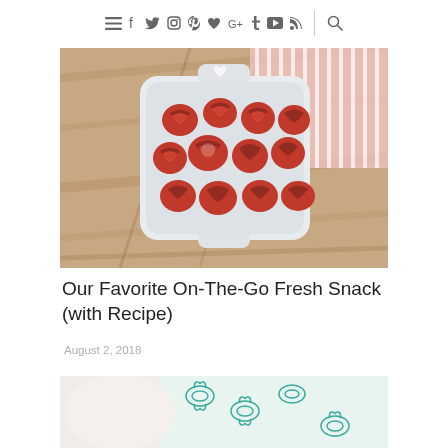≡ f t instagram pinterest ♥ G+ t youtube rss | search
[Figure (photo): Overhead view of a white square ceramic dish with handles, filled with rolled red fruit leather/candy arranged in rose-like spirals, on a wooden table with a pink and white striped cloth napkin]
Our Favorite On-The-Go Fresh Snack (with Recipe)
August 2, 2018
[Figure (photo): Partial view of a second food-related image showing a light background with teal/blue floral fabric pattern]